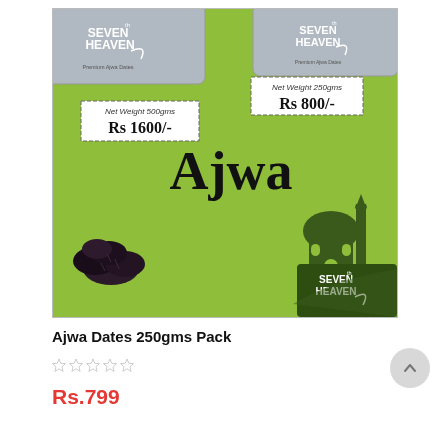[Figure (photo): Product photo showing two silver 'Seventh Heaven' branded boxes of Ajwa dates on a green background. Left box: Net Weight 500gms, Rs 1600/-. Right box: Net Weight 250gms, Rs 800/-. Text 'Ajwa' in large bold black font in center. Dark dried Ajwa dates piled in bottom-left. Mosque silhouette and Seventh Heaven brand logo in bottom-right.]
Ajwa Dates 250gms Pack
Rs.799